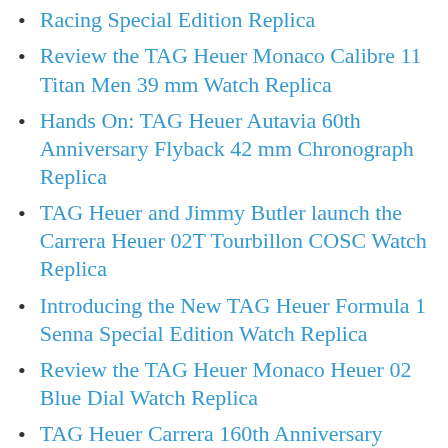Racing Special Edition Replica
Review the TAG Heuer Monaco Calibre 11 Titan Men 39 mm Watch Replica
Hands On: TAG Heuer Autavia 60th Anniversary Flyback 42 mm Chronograph Replica
TAG Heuer and Jimmy Butler launch the Carrera Heuer 02T Tourbillon COSC Watch Replica
Introducing the New TAG Heuer Formula 1 Senna Special Edition Watch Replica
Review the TAG Heuer Monaco Heuer 02 Blue Dial Watch Replica
TAG Heuer Carrera 160th Anniversary Panda Dial Watch Replica With Low Price